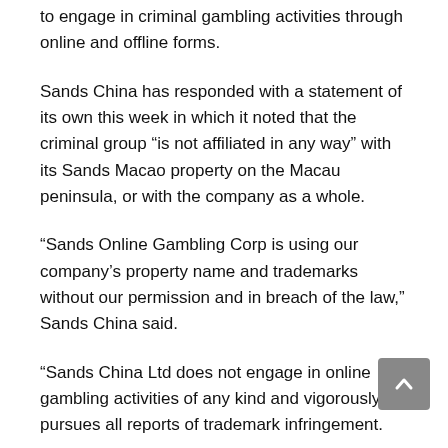to engage in criminal gambling activities through online and offline forms.
Sands China has responded with a statement of its own this week in which it noted that the criminal group “is not affiliated in any way” with its Sands Macao property on the Macau peninsula, or with the company as a whole.
“Sands Online Gambling Corp is using our company’s property name and trademarks without our permission and in breach of the law,” Sands China said.
“Sands China Ltd does not engage in online gambling activities of any kind and vigorously pursues all reports of trademark infringement.
Read More